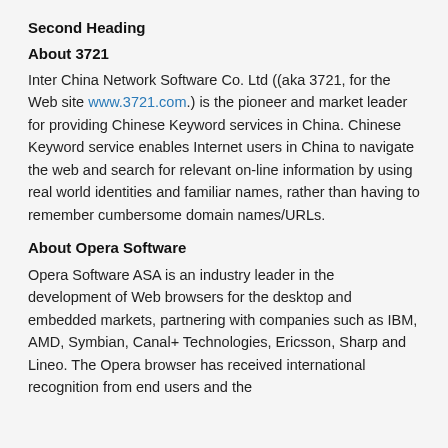Second Heading
About 3721
Inter China Network Software Co. Ltd ((aka 3721, for the Web site www.3721.com.) is the pioneer and market leader for providing Chinese Keyword services in China. Chinese Keyword service enables Internet users in China to navigate the web and search for relevant on-line information by using real world identities and familiar names, rather than having to remember cumbersome domain names/URLs.
About Opera Software
Opera Software ASA is an industry leader in the development of Web browsers for the desktop and embedded markets, partnering with companies such as IBM, AMD, Symbian, Canal+ Technologies, Ericsson, Sharp and Lineo. The Opera browser has received international recognition from end users and the